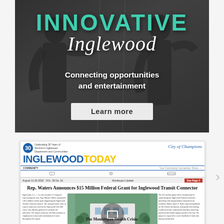[Figure (photo): Innovative Inglewood promotional banner with dark overlay showing silhouettes of people, teal/green 'INNOVATIVE' text, white script 'Inglewood', subtitle 'Connecting opportunities and entertainment', and a 'Learn more' button]
[Figure (screenshot): Inglewood Today newspaper front page screenshot showing logo with 30th anniversary badge, City of Champions tagline, headline 'Rep. Waters Announces $15 Million Federal Grant for Inglewood Transit Connector', body text columns, and a center photo with video overlay icon]
The Monkeypox Health Crisis: